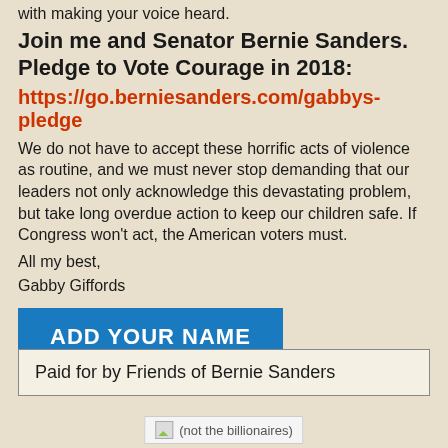with making your voice heard.
Join me and Senator Bernie Sanders. Pledge to Vote Courage in 2018:
https://go.berniesanders.com/gabbys-pledge
We do not have to accept these horrific acts of violence as routine, and we must never stop demanding that our leaders not only acknowledge this devastating problem, but take long overdue action to keep our children safe. If Congress won't act, the American voters must.
All my best,
Gabby Giffords
ADD YOUR NAME
Paid for by Friends of Bernie Sanders
[Figure (other): Small broken image icon followed by text '(not the billionaires)']